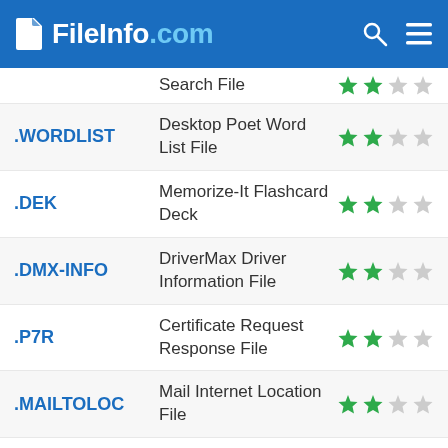FileInfo.com
Search File — 2 stars
.WORDLIST — Desktop Poet Word List File — 2 stars
.DEK — Memorize-It Flashcard Deck — 2 stars
.DMX-INFO — DriverMax Driver Information File — 2 stars
.P7R — Certificate Request Response File — 2 stars
.MAILTOLOC — Mail Internet Location File — 2 stars
.AHD — Dynamics AX Online Help Data File — 2 stars